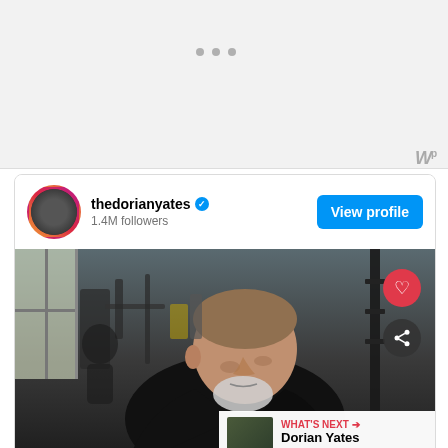[Figure (screenshot): Instagram profile card for thedorianyates showing profile photo, username with verified badge, 1.4M followers, View profile button, and a gym photo of an older man leaning forward in a black shirt. Action buttons (like, share) visible. What's Next panel showing Dorian Yates Dislocates... video thumbnail.]
thedorianyates ✓
1.4M followers
View profile
WHAT'S NEXT → Dorian Yates Dislocates....